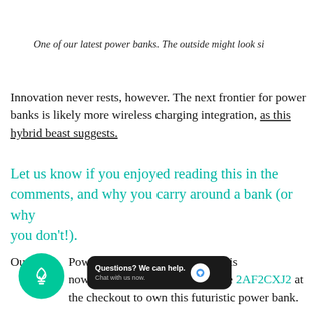One of our latest power banks. The outside might look si
Innovation never rests, however. The next frontier for power banks is likely more wireless charging integration, as this hybrid beast suggests.
Let us know if you enjoyed reading this in the comments, and why you carry around a bank (or why you don't!).
Our Power [Bank] Wireless USB-C Charger is now 25% of un[der retail] use code 2AF2CXJ2 at the checkout to own this futuristic power bank.